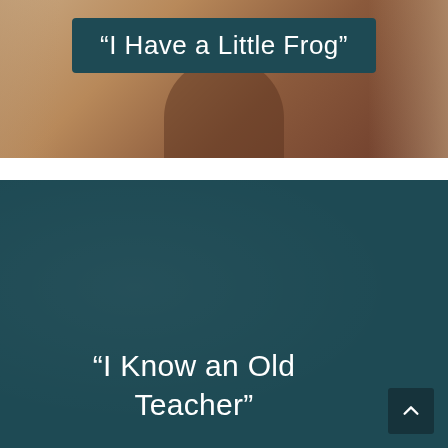[Figure (photo): Photo of a person with a dark teal overlay banner showing the title 'I Have a Little Frog']
“I Have a Little Frog”
[Figure (photo): Dark teal background panel with the title 'I Know an Old Teacher' in white text at the bottom, and a scroll-to-top button in the lower right corner]
“I Know an Old Teacher”